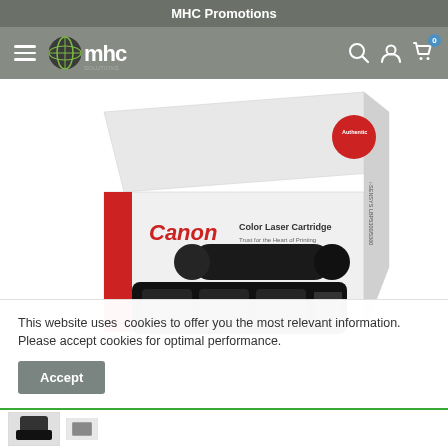MHC Promotions
[Figure (screenshot): MHC website navigation bar with hamburger menu, MHC globe logo, search icon, account icon, and cart icon with 0 badge]
[Figure (photo): Canon Color Laser Cartridge 711 black toner cartridge product image showing the retail box and the cartridge itself]
This website uses cookies to offer you the most relevant information. Please accept cookies for optimal performance.
Accept